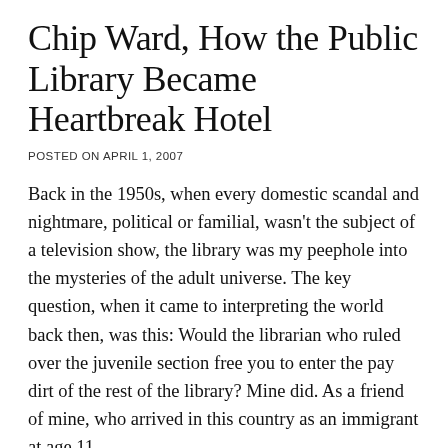Chip Ward, How the Public Library Became Heartbreak Hotel
POSTED ON APRIL 1, 2007
Back in the 1950s, when every domestic scandal and nightmare, political or familial, wasn't the subject of a television show, the library was my peephole into the mysteries of the adult universe. The key question, when it came to interpreting the world back then, was this: Would the librarian who ruled over the juvenile section free you to enter the pay dirt of the rest of the library? Mine did. As a friend of mine, who arrived in this country as an immigrant at age 11,